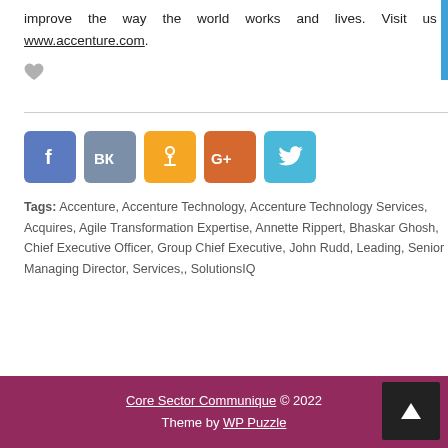improve the way the world works and lives. Visit us at www.accenture.com.
[Figure (other): Heart/like icon in grey]
[Figure (other): Social share buttons: Facebook (f), VK (VK), Odnoklassniki (OK), Google+ (G+), Twitter (bird icon)]
Tags: Accenture, Accenture Technology, Accenture Technology Services, Acquires, Agile Transformation Expertise, Annette Rippert, Bhaskar Ghosh, Chief Executive Officer, Group Chief Executive, John Rudd, Leading, Senior Managing Director, Services,, SolutionsIQ
Core Sector Communique © 2022
Theme by WP Puzzle